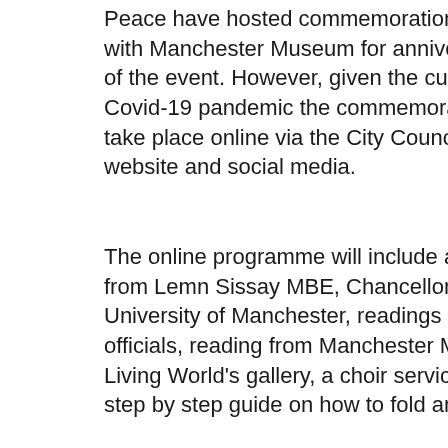Peace have hosted commemoration events with Manchester Museum for anniversaries of the event. However, given the current Covid-19 pandemic the commemoration will take place online via the City Council's website and social media.
The online programme will include a poem from Lemn Sissay MBE, Chancellor of University of Manchester, readings by officials, reading from Manchester Museum's Living World's gallery, a choir service and a step by step guide on how to fold an origami